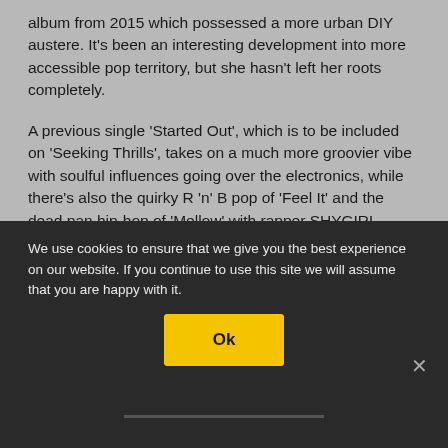album from 2015 which possessed a more urban DIY austere. It's been an interesting development into more accessible pop territory, but she hasn't left her roots completely.
A previous single 'Started Out', which is to be included on 'Seeking Thrills', takes on a much more groovier vibe with soulful influences going over the electronics, while there's also the quirky R 'n' B pop of 'Feel It' and the dead pan hip-hop of 'Mellow' with rapper SHYGIRL.
Great things are anticipated for GEORGIA with her signing to Domino Records, home of FRANZ FERDINAND, ARCTIC MONKEYS and AUSTRA. Having European and UK club... announced for 2020.
We use cookies to ensure that we give you the best experience on our website. If you continue to use this site we will assume that you are happy with it.